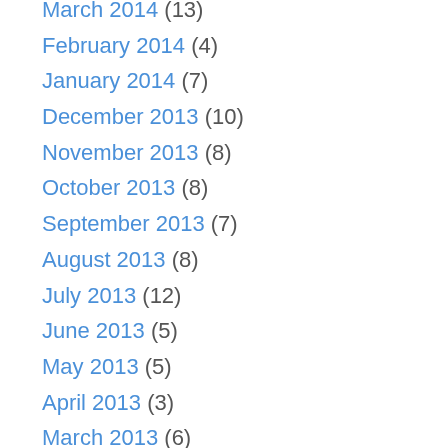March 2014 (13)
February 2014 (4)
January 2014 (7)
December 2013 (10)
November 2013 (8)
October 2013 (8)
September 2013 (7)
August 2013 (8)
July 2013 (12)
June 2013 (5)
May 2013 (5)
April 2013 (3)
March 2013 (6)
February 2013 (5)
January 2013 (5)